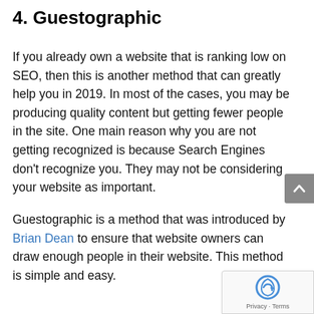4. Guestographic
If you already own a website that is ranking low on SEO, then this is another method that can greatly help you in 2019. In most of the cases, you may be producing quality content but getting fewer people in the site. One main reason why you are not getting recognized is because Search Engines don't recognize you. They may not be considering your website as important.
Guestographic is a method that was introduced by Brian Dean to ensure that website owners can draw enough people in their website. This method is simple and easy.